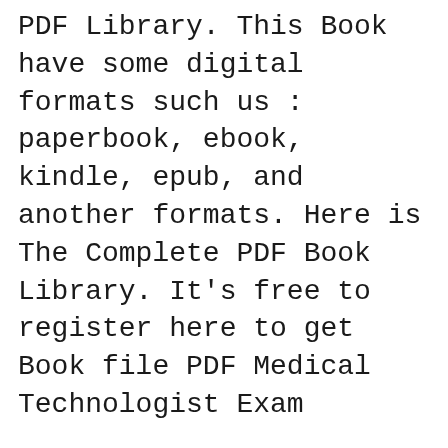PDF Library. This Book have some digital formats such us : paperbook, ebook, kindle, epub, and another formats. Here is The Complete PDF Book Library. It's free to register here to get Book file PDF Medical Technologist Exam
study guide pdf - Download PDF/ePub Medical Technologist Exam Secrets Study Guide Free eBooks PDF. Read Online Medical Technologist Exam Secrets Study Guide Full eBook for Free Sat, 22 Dec 2018 06:53:00 GMT [PDF] Download Medical Technologist Exam Secrets Study - Books medical technologist study guide PDF, ePub, Mobi Page 1. medical technologist study guide GMT List of Free Online Medical